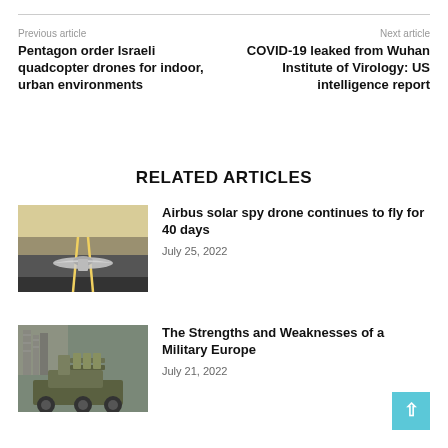Previous article
Next article
Pentagon order Israeli quadcopter drones for indoor, urban environments
COVID-19 leaked from Wuhan Institute of Virology: US intelligence report
RELATED ARTICLES
[Figure (photo): Drone on runway tarmac from front view at dusk]
Airbus solar spy drone continues to fly for 40 days
July 25, 2022
[Figure (photo): Military vehicle with missile launcher system]
The Strengths and Weaknesses of a Military Europe
July 21, 2022